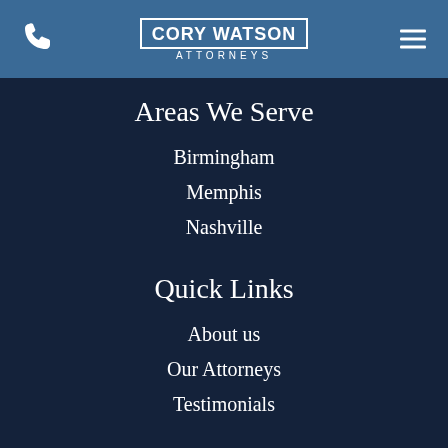CORY WATSON ATTORNEYS
Areas We Serve
Birmingham
Memphis
Nashville
Quick Links
About us
Our Attorneys
Testimonials